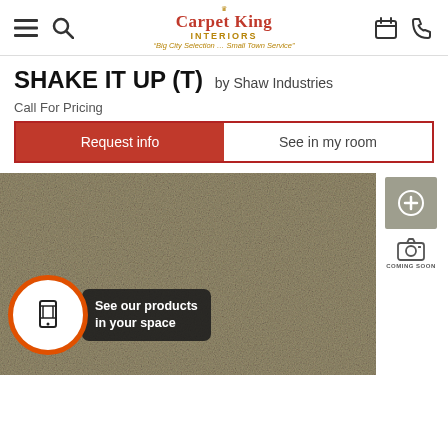Carpet King Interiors — Big City Selection ... Small Town Service
SHAKE IT UP (T) by Shaw Industries
Call For Pricing
Request info | See in my room
[Figure (photo): Close-up texture shot of a beige/taupe carpet sample named Shake It Up (T) by Shaw Industries. An AR badge overlay reads See our products in your space with a phone scan icon.]